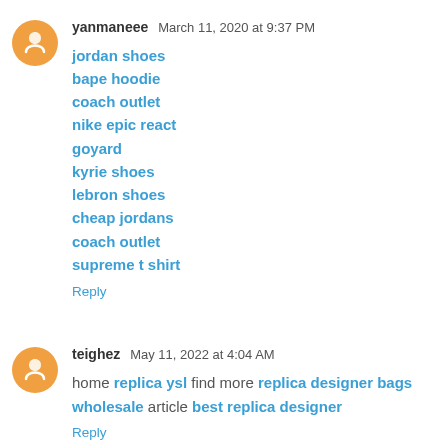yanmaneee  March 11, 2020 at 9:37 PM
jordan shoes
bape hoodie
coach outlet
nike epic react
goyard
kyrie shoes
lebron shoes
cheap jordans
coach outlet
supreme t shirt
Reply
teighez  May 11, 2022 at 4:04 AM
home replica ysl find more replica designer bags wholesale article best replica designer
Reply